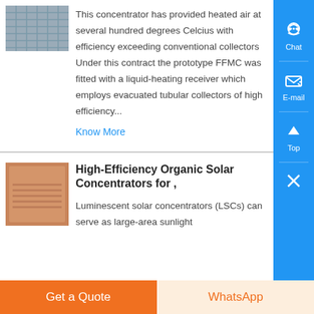[Figure (photo): Partial image of a solar concentrator structure, top of page, cropped]
This concentrator has provided heated air at several hundred degrees Celcius with efficiency exceeding conventional collectors Under this contract the prototype FFMC was fitted with a liquid-heating receiver which employs evacuated tubular collectors of high efficiency...
Know More
[Figure (photo): Photo of High-Efficiency Organic Solar Concentrator device, orange/brown colored panel]
High-Efficiency Organic Solar Concentrators for ,
Luminescent solar concentrators (LSCs) can serve as large-area sunlight